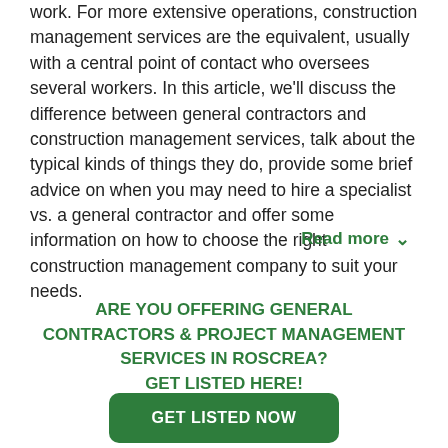work. For more extensive operations, construction management services are the equivalent, usually with a central point of contact who oversees several workers. In this article, we'll discuss the difference between general contractors and construction management services, talk about the typical kinds of things they do, provide some brief advice on when you may need to hire a specialist vs. a general contractor and offer some information on how to choose the right construction management company to suit your needs.
Read more ∨
ARE YOU OFFERING GENERAL CONTRACTORS & PROJECT MANAGEMENT SERVICES IN ROSCREA? GET LISTED HERE!
GET LISTED NOW